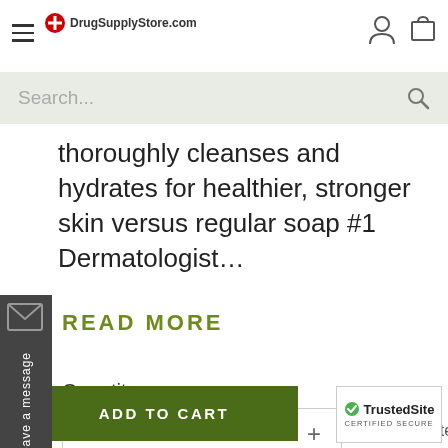DrugSupplyStore.com
Search...
thoroughly cleanses and hydrates for healthier, stronger skin versus regular soap #1 Dermatologist…
READ MORE
Quantity
— 1 +
Share item
ADD TO CART
[Figure (logo): TrustedSite CERTIFIED SECURE badge with green checkmark]